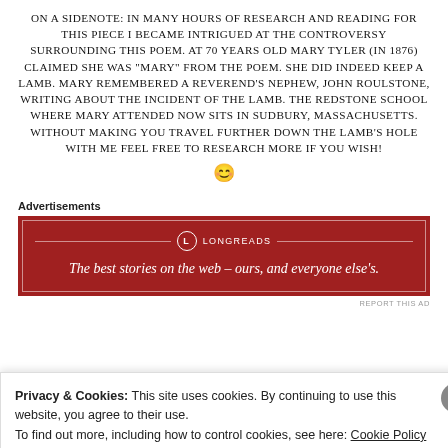ON A SIDENOTE: IN MANY HOURS OF RESEARCH AND READING FOR THIS PIECE I BECAME INTRIGUED AT THE CONTROVERSY SURROUNDING THIS POEM. AT 70 YEARS OLD MARY TYLER (IN 1876) CLAIMED SHE WAS “MARY” FROM THE POEM. SHE DID INDEED KEEP A LAMB. MARY REMEMBERED A REVEREND’S NEPHEW, JOHN ROULSTONE, WRITING ABOUT THE INCIDENT OF THE LAMB. THE REDSTONE SCHOOL WHERE MARY ATTENDED NOW SITS IN SUDBURY, MASSACHUSETTS. WITHOUT MAKING YOU TRAVEL FURTHER DOWN THE LAMB’S HOLE WITH ME FEEL FREE TO RESEARCH MORE IF YOU WISH! 😊
[Figure (screenshot): Longreads advertisement banner with dark red background. Text: 'LONGREADS' with logo circle, 'The best stories on the web — ours, and everyone else's.']
Privacy & Cookies: This site uses cookies. By continuing to use this website, you agree to their use. To find out more, including how to control cookies, see here: Cookie Policy